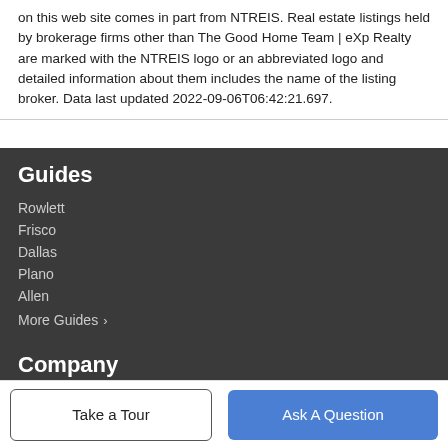on this web site comes in part from NTREIS. Real estate listings held by brokerage firms other than The Good Home Team | eXp Realty are marked with the NTREIS logo or an abbreviated logo and detailed information about them includes the name of the listing broker. Data last updated 2022-09-06T06:42:21.697.
Guides
Rowlett
Frisco
Dallas
Plano
Allen
More Guides >
Company
Take a Tour
Ask A Question